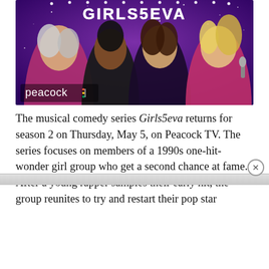[Figure (photo): Promotional image for Girls5eva on Peacock TV. Four women posed against a purple starry background. The Peacock logo appears in the lower left. 'GIRLS5EVA' text in lights at the top.]
The musical comedy series Girls5eva returns for season 2 on Thursday, May 5, on Peacock TV. The series focuses on members of a 1990s one-hit-wonder girl group who get a second chance at fame. After a young rapper samples their early hit, the group reunites to try and restart their pop star